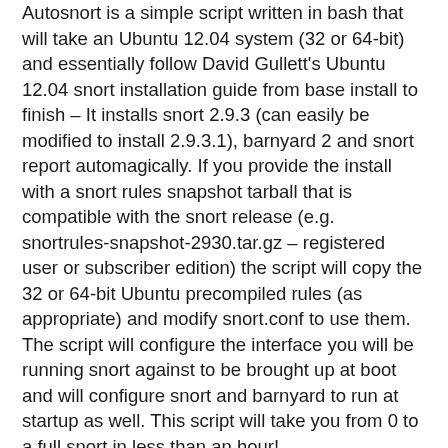Autosnort is a simple script written in bash that will take an Ubuntu 12.04 system (32 or 64-bit) and essentially follow David Gullett's Ubuntu 12.04 snort installation guide from base install to finish – It installs snort 2.9.3 (can easily be modified to install 2.9.3.1), barnyard 2 and snort report automagically. If you provide the install with a snort rules snapshot tarball that is compatible with the snort release (e.g. snortrules-snapshot-2930.tar.gz – registered user or subscriber edition) the script will copy the 32 or 64-bit Ubuntu precompiled rules (as appropriate) and modify snort.conf to use them.  The script will configure the interface you will be running snort against to be brought up at boot and will configure snort and barnyard to run at startup as well. This script will take you from 0 to a full snort in less than an hour!
All you have to do is download the script, run chmod u+x against the script (to make it executable) then run the script as root (sudo su – then ./autosnort.sh or sudo ./autosnort.sh) and follow the on-screen prompts as they come up. The script verifies you ran it as the root user, confirms internet connectivity, confirms it is being ran on Ubuntu 12.04, then goes through the entire install process, ending with a...